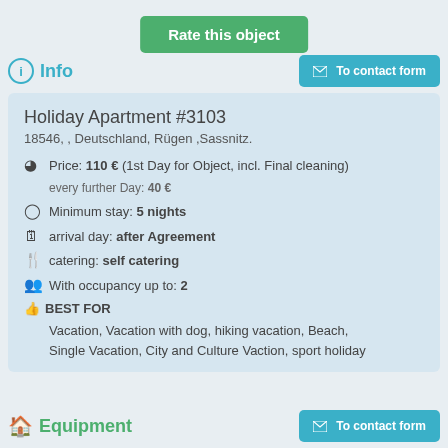Rate this object
Info
Holiday Apartment #3103
18546, , Deutschland, Rügen ,Sassnitz.
Price: 110 € (1st Day for Object, incl. Final cleaning) every further Day: 40 €
Minimum stay: 5 nights
arrival day: after Agreement
catering: self catering
With occupancy up to: 2
BEST FOR
Vacation, Vacation with dog, hiking vacation, Beach, Single Vacation, City and Culture Vaction, sport holiday
Equipment